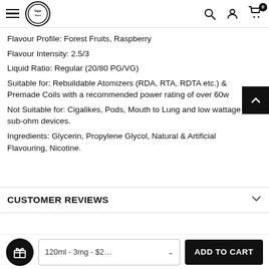Navigation bar with hamburger menu, logo, search, account, and cart icons
Flavour Profile: Forest Fruits, Raspberry
Flavour Intensity: 2.5/3
Liquid Ratio: Regular (20/80 PG/VG)
Suitable for: Rebuildable Atomizers (RDA, RTA, RDTA etc.) & Premade Coils with a recommended power rating of over 60w
Not Suitable for: Cigalikes, Pods, Mouth to Lung and low wattage sub-ohm devices.
Ingredients: Glycerin, Propylene Glycol, Natural & Artificial Flavouring, Nicotine.
CUSTOMER REVIEWS
120ml - 3mg - $2...  ADD TO CART